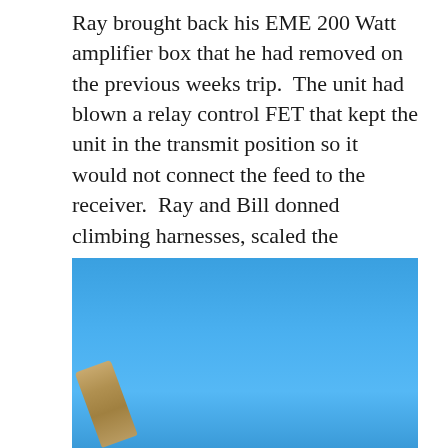Ray brought back his EME 200 Watt amplifier box that he had removed on the previous weeks trip.  The unit had blown a relay control FET that kept the unit in the transmit position so it would not connect the feed to the receiver.  Ray and Bill donned climbing harnesses, scaled the scaffold, and installed the amplifier before the wind could start blowing about 11:00 AM at the site.
[Figure (photo): Outdoor photo with clear blue sky background and a metal pole or mast visible in the lower left, angled diagonally.]